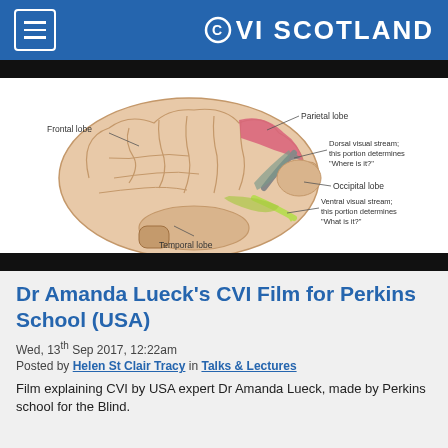CVI SCOTLAND
[Figure (illustration): Diagram of the human brain showing labeled lobes and visual streams: Frontal lobe, Parietal lobe, Dorsal visual stream (this portion determines 'Where is it?'), Occipital lobe, Ventral visual stream (this portion determines 'What is it?'), Temporal lobe. The diagram highlights the parietal lobe in pink/red, dorsal stream in gray with arrow, ventral stream in green with arrow.]
Dr Amanda Lueck's CVI Film for Perkins School (USA)
Wed, 13th Sep 2017, 12:22am
Posted by Helen St Clair Tracy in Talks & Lectures
Film explaining CVI by USA expert Dr Amanda Lueck, made by Perkins school for the Blind.